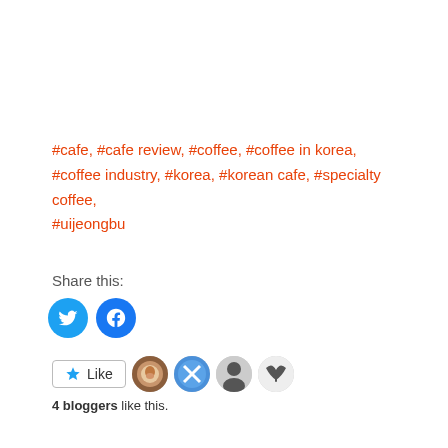#cafe, #cafe review, #coffee, #coffee in korea, #coffee industry, #korea, #korean cafe, #specialty coffee, #uijeongbu
Share this:
[Figure (infographic): Twitter and Facebook share buttons as blue circular icons]
[Figure (infographic): Like button with star icon, followed by 4 blogger avatar thumbnails]
4 bloggers like this.